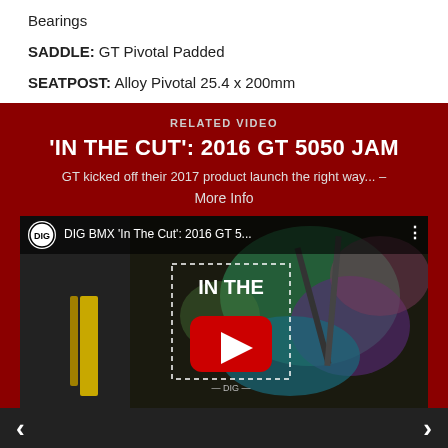Bearings
SADDLE: GT Pivotal Padded
SEATPOST: Alloy Pivotal 25.4 x 200mm
[Figure (screenshot): Related video embed box with dark red background. Title: 'IN THE CUT': 2016 GT 5050 JAM. Subtitle: GT kicked off their 2017 product launch the right way... – More Info. Below is a YouTube video thumbnail showing DIG BMX 'In The Cut': 2016 GT 5... with a play button overlay.]
< >